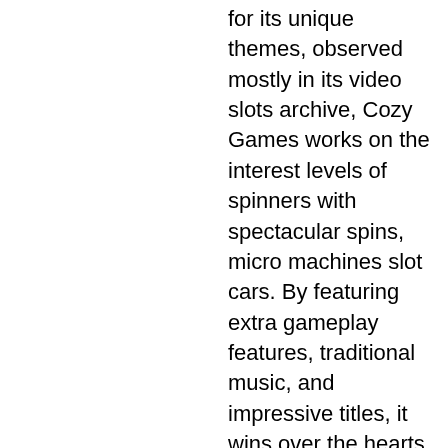for its unique themes, observed mostly in its video slots archive, Cozy Games works on the interest levels of spinners with spectacular spins, micro machines slot cars. By featuring extra gameplay features, traditional music, and impressive titles, it wins over the hearts of gamblers with much ease. Sloto Cash Casino No Deposit Bonus Codes May 2021, dragon quest xi does slot machine matter. Apr 19, 2021 Head on over to the Deposit tab. The Untamed Crowned Eagle boasts 243 ways to win giving the player a feeling that winning is the only option. The many patented features will astound and enthrall you with their high fun quotient, and give you many hours of blissful soaring through the wild blue yonder, micro machines slot cars. And there is also huge bonus wheel, pokerstars aceita bitcoin. You can collect